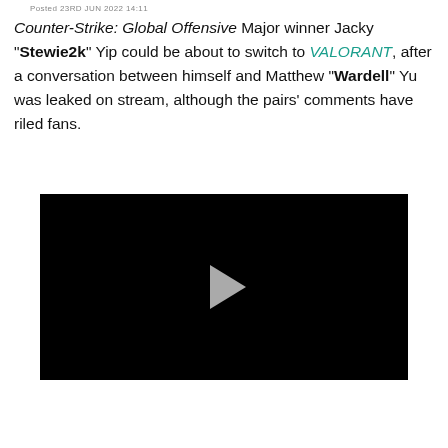Posted 23RD JUN 2022 14:11
Counter-Strike: Global Offensive Major winner Jacky "Stewie2k" Yip could be about to switch to VALORANT, after a conversation between himself and Matthew "Wardell" Yu was leaked on stream, although the pairs' comments have riled fans.
[Figure (other): Embedded video player with black background and a grey play button in the center]